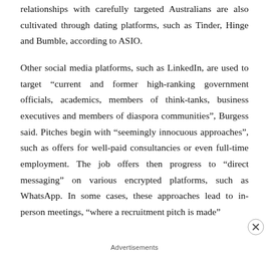relationships with carefully targeted Australians are also cultivated through dating platforms, such as Tinder, Hinge and Bumble, according to ASIO.
Other social media platforms, such as LinkedIn, are used to target “current and former high-ranking government officials, academics, members of think-tanks, business executives and members of diaspora communities”, Burgess said. Pitches begin with “seemingly innocuous approaches”, such as offers for well-paid consultancies or even full-time employment. The job offers then progress to “direct messaging” on various encrypted platforms, such as WhatsApp. In some cases, these approaches lead to in-person meetings, “where a recruitment pitch is made”
Advertisements